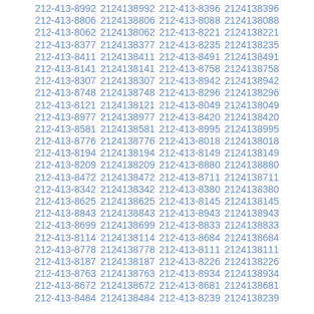212-413-8992 2124138992 212-413-8396 2124138396 212-413-8806 2124138806 212-413-8088 2124138088 212-413-8062 2124138062 212-413-8221 2124138221 212-413-8377 2124138377 212-413-8235 2124138235 212-413-8411 2124138411 212-413-8491 2124138491 212-413-8141 2124138141 212-413-8758 2124138758 212-413-8307 2124138307 212-413-8942 2124138942 212-413-8748 2124138748 212-413-8296 2124138296 212-413-8121 2124138121 212-413-8049 2124138049 212-413-8977 2124138977 212-413-8420 2124138420 212-413-8581 2124138581 212-413-8995 2124138995 212-413-8776 2124138776 212-413-8018 2124138018 212-413-8194 2124138194 212-413-8149 2124138149 212-413-8209 2124138209 212-413-8880 2124138880 212-413-8472 2124138472 212-413-8711 2124138711 212-413-8342 2124138342 212-413-8380 2124138380 212-413-8625 2124138625 212-413-8145 2124138145 212-413-8843 2124138843 212-413-8943 2124138943 212-413-8699 2124138699 212-413-8833 2124138833 212-413-8114 2124138114 212-413-8684 2124138684 212-413-8778 2124138778 212-413-8111 2124138111 212-413-8187 2124138187 212-413-8226 2124138226 212-413-8763 2124138763 212-413-8934 2124138934 212-413-8672 2124138672 212-413-8681 2124138681 212-413-8484 2124138484 212-413-8239 2124138239